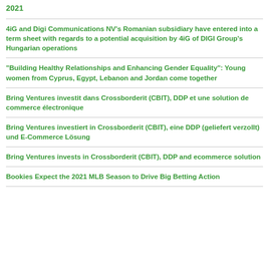2021
4iG and Digi Communications NV’s Romanian subsidiary have entered into a term sheet with regards to a potential acquisition by 4iG of DIGI Group’s Hungarian operations
“Building Healthy Relationships and Enhancing Gender Equality”: Young women from Cyprus, Egypt, Lebanon and Jordan come together
Bring Ventures investit dans Crossborderit (CBIT), DDP et une solution de commerce électronique
Bring Ventures investiert in Crossborderit (CBIT), eine DDP (geliefert verzollt) und E-Commerce Lösung
Bring Ventures invests in Crossborderit (CBIT), DDP and ecommerce solution
Bookies Expect the 2021 MLB Season to Drive Big Betting Action